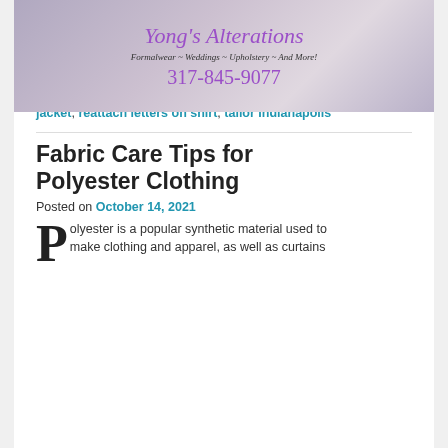[Figure (photo): Yong's Alterations banner with purple script title, subtitle 'Formalwear ~ Weddings ~ Upholstery ~ And More!' and phone number 317-845-9077 on a light photographic background]
— Indianapolis Alterations 317-845-9077
Posted in Clothing Repair, Costume Repair, Sewing | Tagged alterations Indianapolis, clothing repair Indianapolis, Letterman Jacket Repair, reattach applique, reattach letters on jacket, reattach letters on shirt, tailor Indianapolis
Fabric Care Tips for Polyester Clothing
Posted on October 14, 2021
Polyester is a popular synthetic material used to make clothing and apparel, as well as curtains